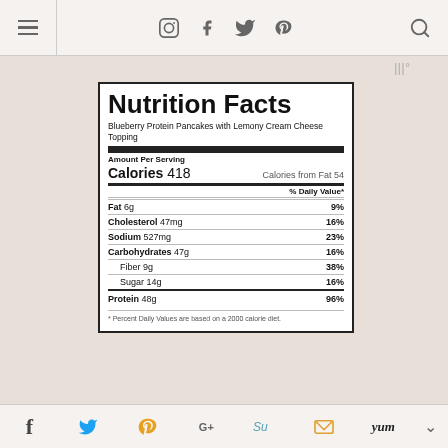[Figure (screenshot): Website navigation bar with hamburger menu, social media icons (Instagram, Facebook, Twitter, Pinterest), and search icon]
[Figure (other): Tailored logo mark in top right area]
| Nutrition Facts |
| Blueberry Protein Pancakes with Lemony Cream Cheese Topping |
| Amount Per Serving |
| Calories 418 | Calories from Fat 54 |
|  | % Daily Value* |
| Fat 6g | 9% |
| Cholesterol 47mg | 16% |
| Sodium 527mg | 23% |
| Carbohydrates 47g | 16% |
| Fiber 9g | 38% |
| Sugar 14g | 16% |
| Protein 48g | 96% |
| * Percent Daily Values are based on a 2000 calorie diet. |  |
[Figure (screenshot): Bottom social share bar with Facebook, Twitter, Pinterest, Google+, StumbleUpon, email, Yum, and arrow icons]